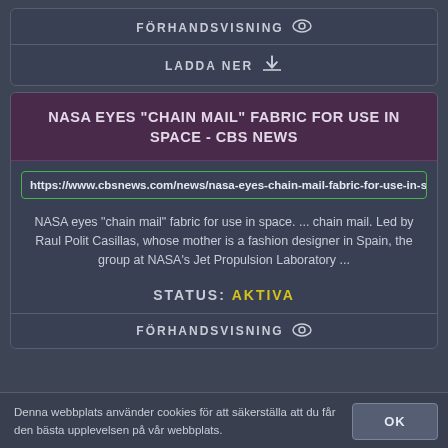FÖRHANDSVISNING 👁
LADDA NER ⬇
NASA EYES "CHAIN MAIL" FABRIC FOR USE IN SPACE - CBS NEWS
https://www.cbsnews.com/news/nasa-eyes-chain-mail-fabric-for-use-in-s
NASA eyes "chain mail" fabric for use in space. ... chain mail. Led by Raul Polit Casillas, whose mother is a fashion designer in Spain, the group at NASA's Jet Propulsion Laboratory ...
STATUS: AKTIVA
FÖRHANDSVISNING 👁
Denna webbplats använder cookies för att säkerställa att du får den bästa upplevelsen på vår webbplats.